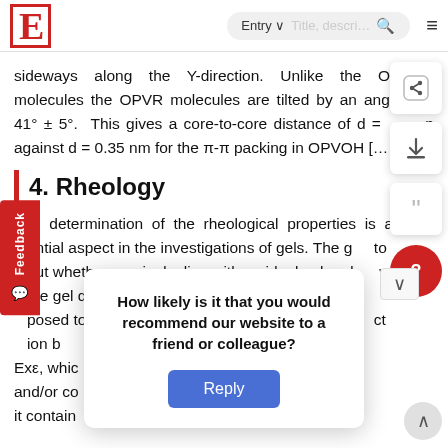E | Entry ∨ Title, descri… 🔍 ≡
sideways along the Y-direction. Unlike the OPVOH molecules the OPVR molecules are tilted by an angle α = 41° ± 5°. This gives a core-to-core distance of d = … nm against d = 0.35 nm for the π-π packing in OPVOH […
4. Rheology
The determination of the rheological properties is an essential aspect in the investigations of gels. The g… to out whether one is dealing with an ideal gel and… w the gel departs from ideality. An ideal net… is posed to possess an elastic modulus E… nely, ct ion b… ation σ = Exε, whic… f… n and/or co… rk in that it contain… , there is